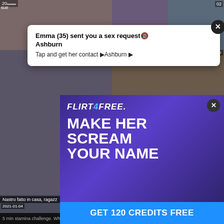[Figure (screenshot): Background grid of adult video thumbnails with timestamps and labels]
Emma (35) sent you a sex request
Ashburn
Tap and get her contact ►Ashburn ►
[Figure (advertisement): Flirt4Free ad overlay: MAKE HER SCREAM YOUR NAME, GET 120 CREDITS FREE]
Nastro fatto in casa, ragazz
5 min stamina challenge. Who won?
Hot and HAIRY tattooed brunette toys